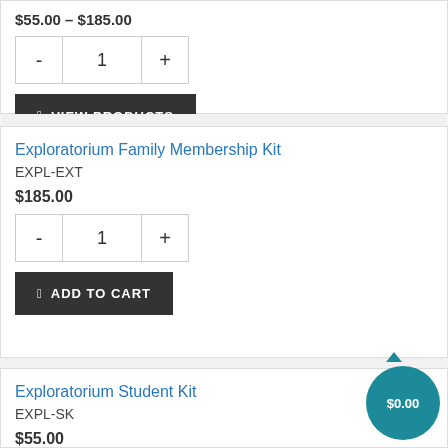$55.00 – $185.00
- 1 +
🛒 VIEW PRODUCTS
Exploratorium Family Membership Kit
EXPL-EXT
$185.00
- 1 +
🛒 ADD TO CART
Exploratorium Student Kit
EXPL-SK
$55.00
$0.00